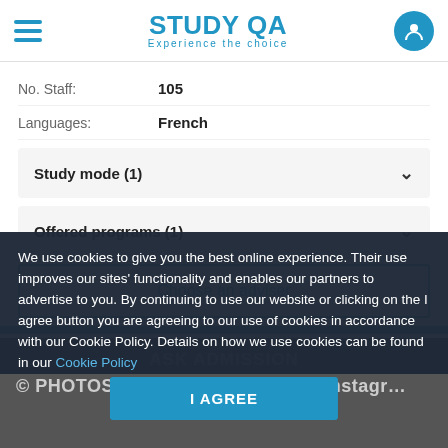STUDY QA – Experience the choice
No. Staff: 105
Languages: French
Study mode (1)
Offered programs (1)
Choose an adviser
ASK ADMISSION
© PHOTOS OF UNIVERSITY / #aupinstagr…
We use cookies to give you the best online experience. Their use improves our sites' functionality and enables our partners to advertise to you. By continuing to use our website or clicking on the I agree button you are agreeing to our use of cookies in accordance with our Cookie Policy. Details on how we use cookies can be found in our Cookie Policy
I AGREE